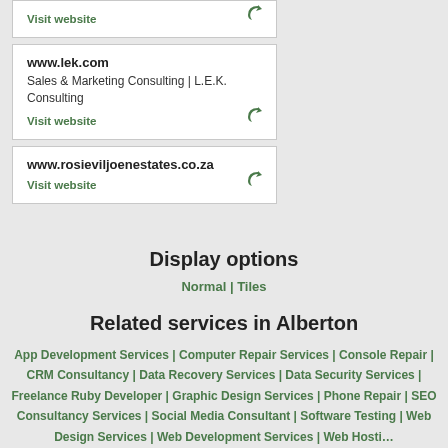Visit website
www.lek.com
Sales & Marketing Consulting | L.E.K. Consulting
Visit website
www.rosieviljoenestates.co.za
Visit website
Display options
Normal | Tiles
Related services in Alberton
App Development Services | Computer Repair Services | Console Repair | CRM Consultancy | Data Recovery Services | Data Security Services | Freelance Ruby Developer | Graphic Design Services | Phone Repair | SEO Consultancy Services | Social Media Consultant | Software Testing | Web Design Services | Web Development Services | Web Hosting